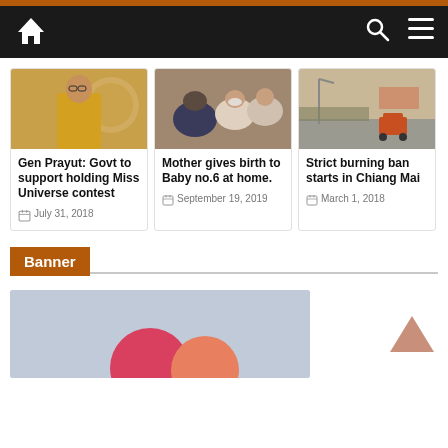Navigation bar with home, search, and menu icons
[Figure (photo): Thai official in yellow jacket speaking at podium]
Gen Prayut: Govt to support holding Miss Universe contest
July 31, 2018
[Figure (photo): People crouching around mother and newborn baby on floor]
Mother gives birth to Baby no.6 at home.
September 19, 2019
[Figure (photo): Street scene in Chiang Mai with hazy smog]
Strict burning ban starts in Chiang Mai
March 1, 2018
Banner
[Figure (illustration): Partial banner image with colored circles on grey background]